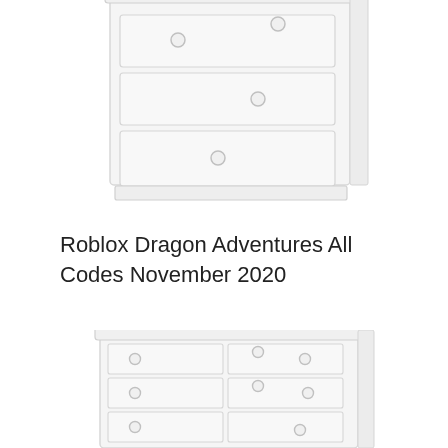[Figure (illustration): Top portion of a white dresser/chest of drawers illustration, cropped, showing drawer handles as small circles, rendered in light gray outline style on white background]
Roblox Dragon Adventures All Codes November 2020
[Figure (illustration): A white dresser/chest of drawers illustration with multiple drawers each having circular knob handles, rendered in light gray outline style on white background, partially cropped at bottom]